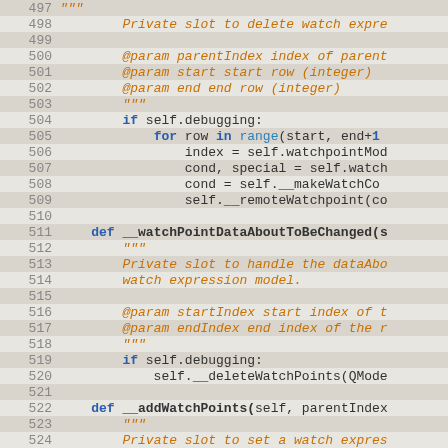[Figure (screenshot): Python source code viewer showing lines 497-526 with syntax highlighting. Line numbers on left, code on right. Alternating highlighted background on some lines. Keywords in bold blue, docstrings/comments in orange italic, identifiers in dark.]